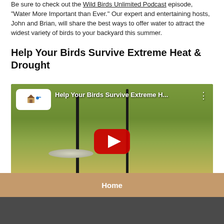Be sure to check out the Wild Birds Unlimited Podcast episode, "Water More Important than Ever." Our expert and entertaining hosts, John and Brian, will share the best ways to offer water to attract the widest variety of birds to your backyard this summer.
Help Your Birds Survive Extreme Heat & Drought
[Figure (screenshot): YouTube video thumbnail showing a man in a white polo shirt outdoors near bird feeders on poles, with a YouTube play button overlay. Video title: 'Help Your Birds Survive Extreme H...' with a Wild Birds Unlimited logo in the top left.]
Home